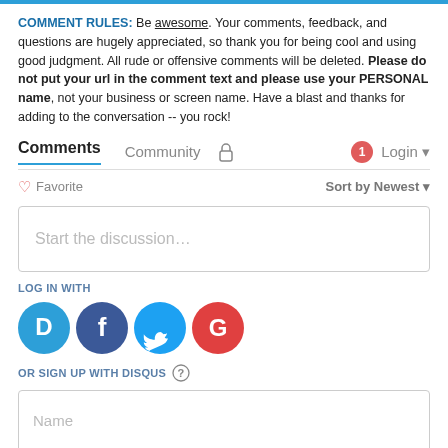COMMENT RULES: Be awesome. Your comments, feedback, and questions are hugely appreciated, so thank you for being cool and using good judgment. All rude or offensive comments will be deleted. Please do not put your url in the comment text and please use your PERSONAL name, not your business or screen name. Have a blast and thanks for adding to the conversation -- you rock!
Comments  Community  [lock icon]  [1 notification]  Login
Favorite  Sort by Newest
Start the discussion...
LOG IN WITH
[Figure (infographic): Four social login icons: Disqus (blue speech bubble with D), Facebook (dark blue circle with f), Twitter (light blue circle with bird), Google (red circle with G)]
OR SIGN UP WITH DISQUS ?
Name